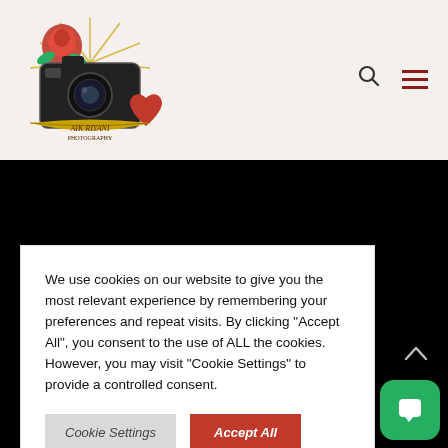[Figure (logo): Photography studio logo with a camera, red rose, heart, and decorative banner text on light beige header background]
[Figure (illustration): Dark/black background content area below header]
We use cookies on our website to give you the most relevant experience by remembering your preferences and repeat visits. By clicking "Accept All", you consent to the use of ALL the cookies. However, you may visit "Cookie Settings" to provide a controlled consent.
Cookie Settings | Accept All